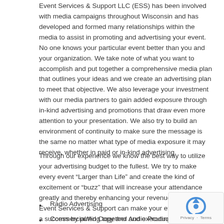Event Services & Support LLC (ESS) has been involved with media campaigns throughout Wisconsin and has developed and formed many relationships within the media to assist in promoting and advertising your event. No one knows your particular event better than you and your organization. We take note of what you want to accomplish and put together a comprehensive media plan that outlines your ideas and we create an advertising plan to meet that objective. We also leverage your investment with our media partners to gain added exposure through in-kind advertising and promotions that draw even more attention to your presentation. We also try to build an environment of continuity to make sure the message is the same no matter what type of media exposure it may receive, whether in paid or in-kind advertising.
Through our experience we know the best way to utilize your advertising budget to the fullest. We try to make every event “Larger than Life” and create the kind of excitement or “buzz” that will increase your attendance greatly and thereby enhancing your revenue as well. Event Services & Support can make your event or activity a success by putting together and executing a solid marketing campaign based on your expectations.
Radio Advertising
Commercial/Ad Copy and Audio Production